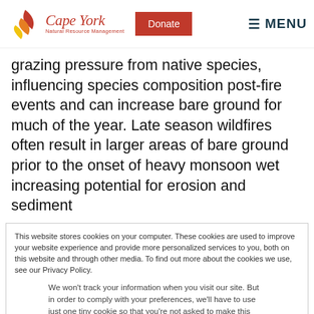Cape York Natural Resource Management — Donate — MENU
grazing pressure from native species, influencing species composition post-fire events and can increase bare ground for much of the year. Late season wildfires often result in larger areas of bare ground prior to the onset of heavy monsoon wet increasing potential for erosion and sediment
This website stores cookies on your computer. These cookies are used to improve your website experience and provide more personalized services to you, both on this website and through other media. To find out more about the cookies we use, see our Privacy Policy.
We won't track your information when you visit our site. But in order to comply with your preferences, we'll have to use just one tiny cookie so that you're not asked to make this choice again.
Accept   Decline